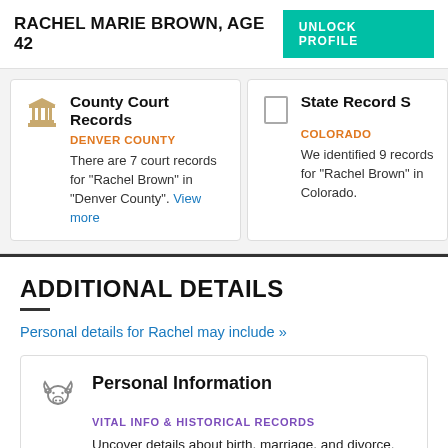RACHEL MARIE BROWN, AGE 42
UNLOCK PROFILE
County Court Records
DENVER COUNTY
There are 7 court records for "Rachel Brown" in "Denver County".
View more
State Record S
COLORADO
We identified 9 records for "Rachel Brown" in Colorado.
ADDITIONAL DETAILS
Personal details for Rachel may include »
Personal Information
VITAL INFO & HISTORICAL RECORDS
Uncover details about birth, marriage, and divorce. Find census, military, and other historical records.*